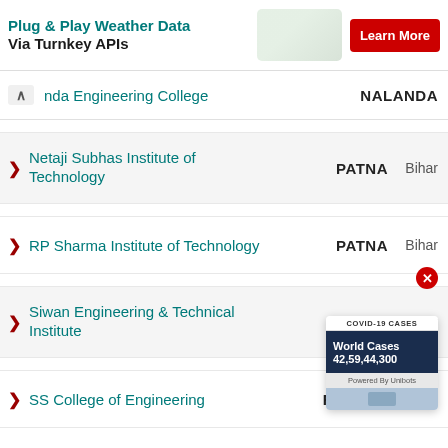Plug & Play Weather Data Via Turnkey APIs
nda Engineering College | NALANDA
Netaji Subhas Institute of Technology | PATNA | Bihar
RP Sharma Institute of Technology | PATNA | Bihar
Siwan Engineering & Technical Institute | SIWAN | Bihar
SS College of Engineering | ROHTAS | Bihar
[Figure (screenshot): COVID-19 Cases widget showing World Cases 42,59,44,300, Powered By Unibots]